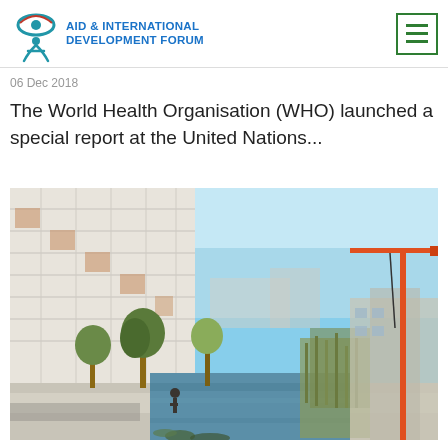AID & INTERNATIONAL DEVELOPMENT FORUM
06 Dec 2018
The World Health Organisation (WHO) launched a special report at the United Nations...
[Figure (photo): Urban waterfront scene showing modern apartment buildings with balconies on the left, a canal or water feature with aquatic vegetation in the middle, trees lining a walkway, and a construction crane visible on the right side against a clear blue sky.]